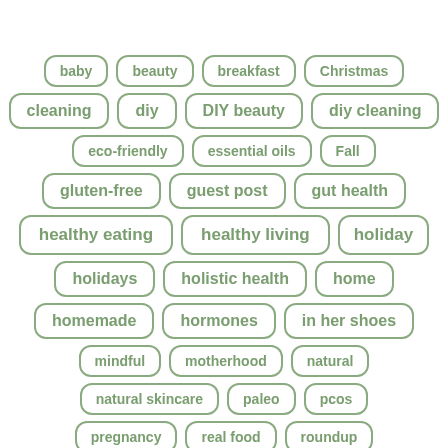baby
beauty
breakfast
Christmas
cleaning
diy
DIY beauty
diy cleaning
eco-friendly
essential oils
Fall
gluten-free
guest post
gut health
healthy eating
healthy living
holiday
holidays
holistic health
home
homemade
hormones
in her shoes
mindful
motherhood
natural
natural skincare
paleo
pcos
pregnancy
real food
roundup
roundups
savvy swaps
self care
skincare
sponsored
sweet